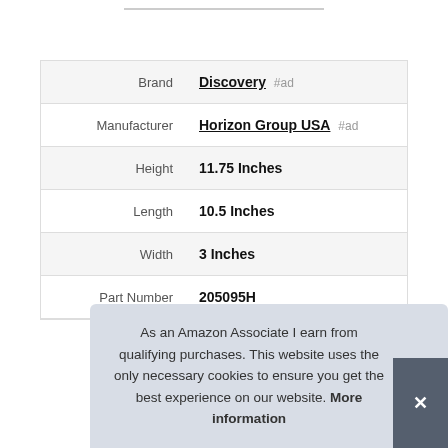| Attribute | Value |
| --- | --- |
| Brand | Discovery #ad |
| Manufacturer | Horizon Group USA #ad |
| Height | 11.75 Inches |
| Length | 10.5 Inches |
| Width | 3 Inches |
| Part Number | 205095H |
As an Amazon Associate I earn from qualifying purchases. This website uses the only necessary cookies to ensure you get the best experience on our website. More information